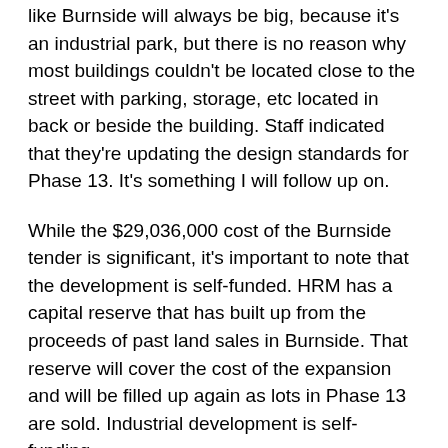like Burnside will always be big, because it's an industrial park, but there is no reason why most buildings couldn't be located close to the street with parking, storage, etc located in back or beside the building. Staff indicated that they're updating the design standards for Phase 13. It's something I will follow up on.
While the $29,036,000 cost of the Burnside tender is significant, it's important to note that the development is self-funded. HRM has a capital reserve that has built up from the proceeds of past land sales in Burnside. That reserve will cover the cost of the expansion and will be filled up again as lots in Phase 13 are sold. Industrial development is self-funding.
Other: